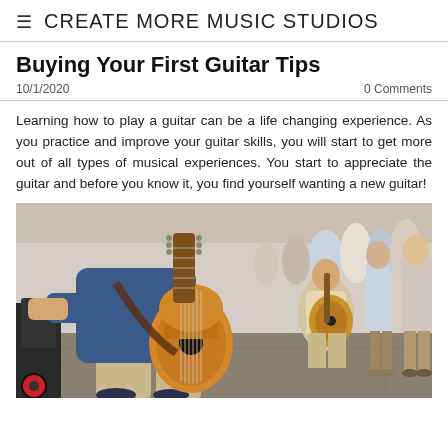≡  CREATE MORE MUSIC STUDIOS
Buying Your First Guitar Tips
10/1/2020    0 Comments
Learning how to play a guitar can be a life changing experience. As you practice and improve your guitar skills, you will start to get more out of all types of musical experiences. You start to appreciate the guitar and before you know it, you find yourself wanting a new guitar!
[Figure (photo): Street musicians playing acoustic guitars outdoors, with a crowd in the background. One player sits in the foreground wearing a blue shirt and beige shorts, playing a warm-toned acoustic guitar. Another musician with a similar guitar is visible behind.]